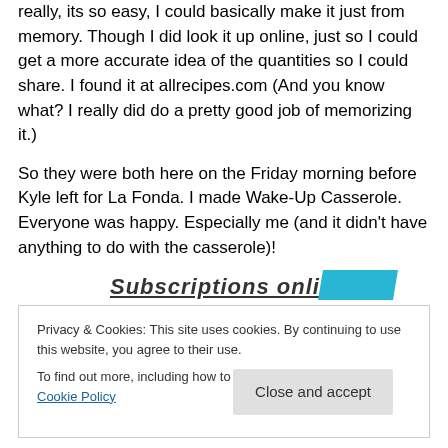really, its so easy, I could basically make it just from memory.  Though I did look it up online, just so I could get a more accurate idea of the quantities so I could share.  I found it at allrecipes.com  (And you know what?  I really did do a pretty good job of memorizing it.)
So they were both here on the Friday morning before Kyle left for La Fonda.  I made Wake-Up Casserole.  Everyone was happy.  Especially me (and it didn't have anything to do with the casserole)!
Subscriptions online
Privacy & Cookies: This site uses cookies. By continuing to use this website, you agree to their use.
To find out more, including how to control cookies, see here: Cookie Policy
Close and accept